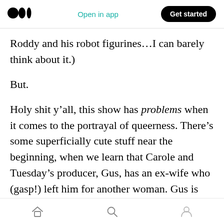Open in app | Get started
Roddy and his robot figurines…I can barely think about it.)
But.
Holy shit y’all, this show has problems when it comes to the portrayal of queerness. There’s some superficially cute stuff near the beginning, when we learn that Carole and Tuesday’s producer, Gus, has an ex-wife who (gasp!) left him for another woman. Gus is melancholy but gracious about this fact, and although Carole and Tuesday both gape slack-jawed when they
Home | Search | Profile